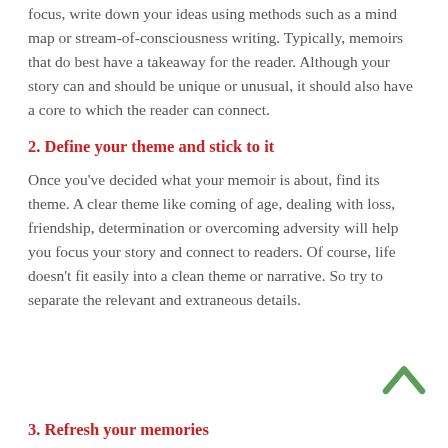focus, write down your ideas using methods such as a mind map or stream-of-consciousness writing. Typically, memoirs that do best have a takeaway for the reader. Although your story can and should be unique or unusual, it should also have a core to which the reader can connect.
2. Define your theme and stick to it
Once you’ve decided what your memoir is about, find its theme. A clear theme like coming of age, dealing with loss, friendship, determination or overcoming adversity will help you focus your story and connect to readers. Of course, life doesn’t fit easily into a clean theme or narrative. So try to separate the relevant and extraneous details.
3. Refresh your memories